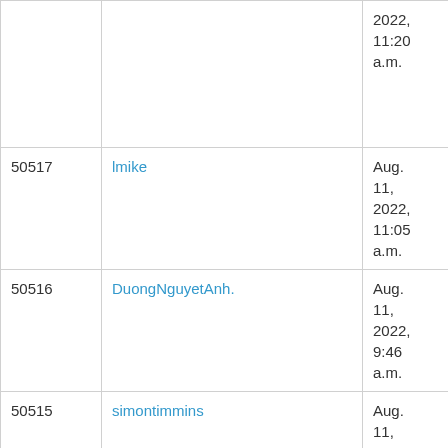| ID | User | Date |  | Num |
| --- | --- | --- | --- | --- |
|  |  | 2022, 11:20 a.m. |  |  |
| 50517 | lmike | Aug. 11, 2022, 11:05 a.m. |  | 4 |
| 50516 | DuongNguyetAnh. | Aug. 11, 2022, 9:46 a.m. |  | 25 |
| 50515 | simontimmins | Aug. 11, 2022, 9:41 a.m. |  | 10 |
| 50514 | MPhuongL | Aug. 11, 2022, 9:34 a.m. |  | 19 |